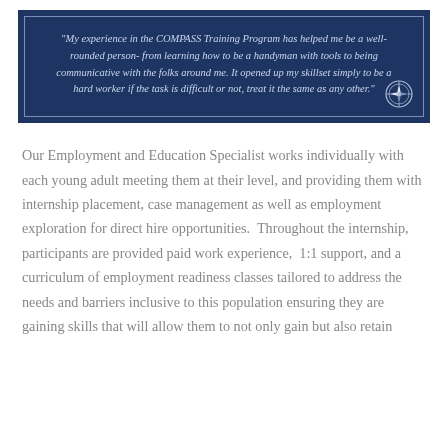[Figure (other): Dark navy blue quote box with border containing an italic quote about the COMPASS Training Program, with a compass logo icon in the bottom right corner.]
Our Employment and Education Specialist works individually with each young adult meeting them at their level, and providing them with internship placement, case management as well as employment exploration for direct hire opportunities.  Throughout the internship, participants are provided paid work experience,  1:1 support, and a curriculum of employment readiness classes tailored to address the needs and barriers inclusive to this population ensuring they are gaining skills that will allow them to not only gain but also retain employment. The program serves formerly incarcerated